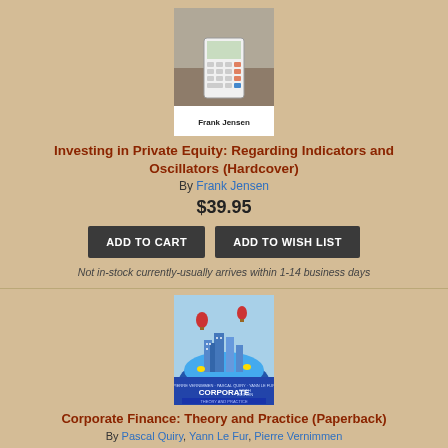[Figure (photo): Book cover for 'Investing in Private Equity: Regarding Indicators and Oscillators' by Frank Jensen, showing hands using a calculator]
Investing in Private Equity: Regarding Indicators and Oscillators (Hardcover)
By Frank Jensen
$39.95
ADD TO CART
ADD TO WISH LIST
Not in-stock currently-usually arrives within 1-14 business days
[Figure (photo): Book cover for 'Corporate Finance: Theory and Practice' Sixth Edition by Pierre Vernimmen, Pascal Quiry, Yann Le Fur, published by Wiley]
Corporate Finance: Theory and Practice (Paperback)
By Pascal Quiry, Yann Le Fur, Pierre Vernimmen